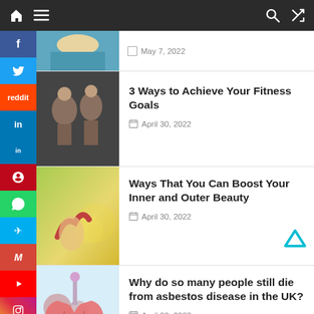Navigation bar with home, menu, search, shuffle icons
May 7, 2022
3 Ways to Achieve Your Fitness Goals
April 30, 2022
Ways That You Can Boost Your Inner and Outer Beauty
April 30, 2022
Why do so many people still die from asbestos disease in the UK?
April 30, 2022
Lindsay Kiriakos Gives Tips to Manage Mental Health During Stressful Time
[Figure (screenshot): Social media share buttons sidebar: Facebook, Twitter, Reddit, LinkedIn, Pinterest, WhatsApp, Messenger, Gmail, YouTube, Instagram, Yummly x2]